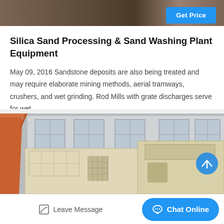[Figure (photo): Top portion of industrial/mining equipment photo, partially visible]
Get Price
Silica Sand Processing & Sand Washing Plant Equipment
May 09, 2016 Sandstone deposits are also being treated and may require elaborate mining methods, aerial tramways, crushers, and wet grinding. Rod Mills with grate discharges serve for wet…
[Figure (photo): Industrial sand washing plant equipment with orange crane/gantry structure on left, cream/beige processing machinery, and a building with windows in background]
Leave Message
Chat Online